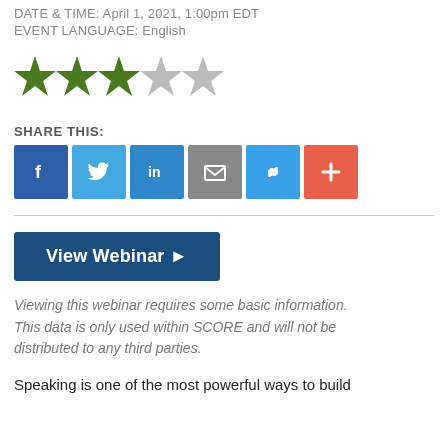DATE & TIME: April 1, 2021, 1:00pm EDT
EVENT LANGUAGE: English
[Figure (other): Star rating: 3.5 out of 5 stars (3 full green stars, 1 half green/grey star, 1 empty grey star)]
SHARE THIS:
[Figure (other): Social share buttons: Facebook (blue), Twitter (light blue), LinkedIn (blue), Email (grey), Link (blue), Plus/More (red-orange)]
[Figure (other): View Webinar button (dark blue)]
Viewing this webinar requires some basic information. This data is only used within SCORE and will not be distributed to any third parties.
Speaking is one of the most powerful ways to build